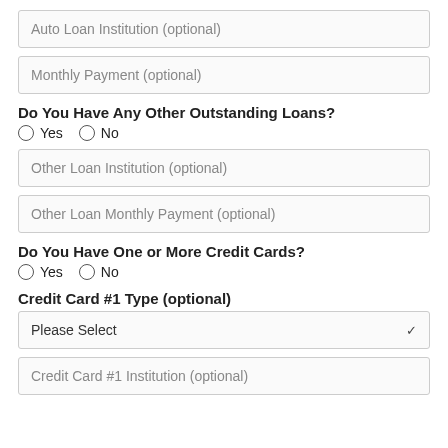Auto Loan Institution (optional)
Monthly Payment (optional)
Do You Have Any Other Outstanding Loans?
Yes  No
Other Loan Institution (optional)
Other Loan Monthly Payment (optional)
Do You Have One or More Credit Cards?
Yes  No
Credit Card #1 Type (optional)
Please Select
Credit Card #1 Institution (optional)